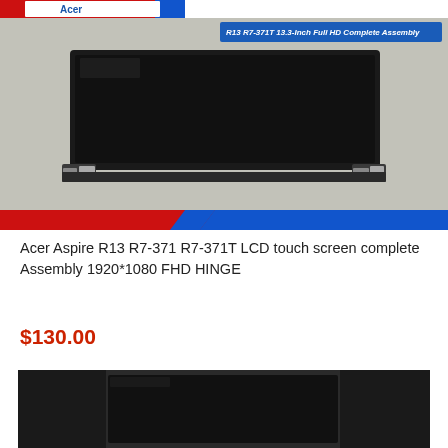[Figure (photo): Product listing image showing an Acer Aspire R13 LCD touchscreen assembly with hinges, on a bubble wrap background. Has a red and blue brand banner at top and bottom of the image, with text 'R13 R7-371T 13.3-Inch Full HD Complete Assembly' in the upper right corner.]
Acer Aspire R13 R7-371 R7-371T LCD touch screen complete Assembly 1920*1080 FHD HINGE
$130.00
[Figure (photo): Second product listing photo showing a black LCD screen panel laid flat on a dark surface, partially cropped at the bottom of the page.]